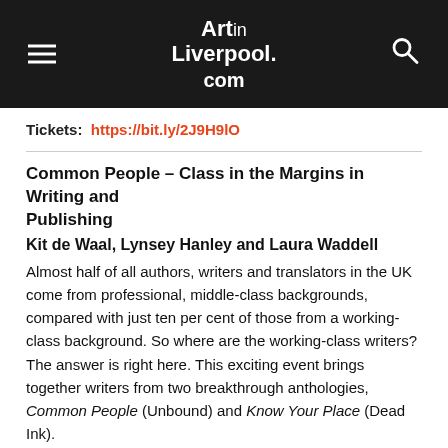Art in Liverpool.com
Tickets: https://bit.ly/2J9H9lO
Common People – Class in the Margins in Writing and Publishing
Kit de Waal, Lynsey Hanley and Laura Waddell
Almost half of all authors, writers and translators in the UK come from professional, middle-class backgrounds, compared with just ten per cent of those from a working-class background. So where are the working-class writers? The answer is right here. This exciting event brings together writers from two breakthrough anthologies, Common People (Unbound) and Know Your Place (Dead Ink).
£6/£3. 7pm. Thursday 2nd May. Toxteth Library, Windsor Street, Liverpool, L8 1XF.
Tickets: https://bit.ly/2J9hrEn